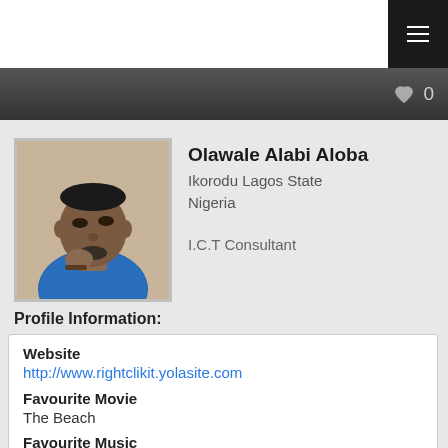[Figure (screenshot): Top navigation bar with white background and black hamburger menu icon in top-right corner]
[Figure (screenshot): Dark grey bar with heart icon and count '0' on the right]
[Figure (photo): Profile photo of a man wearing a blue patterned shirt, resting his hand on his chin]
Olawale Alabi Aloba
Ikorodu Lagos State Nigeria
I.C.T Consultant
Profile Information:
Website
http://www.rightclikit.yolasite.com
Favourite Movie
The Beach
Favourite Music
blues
Favourite Artisto